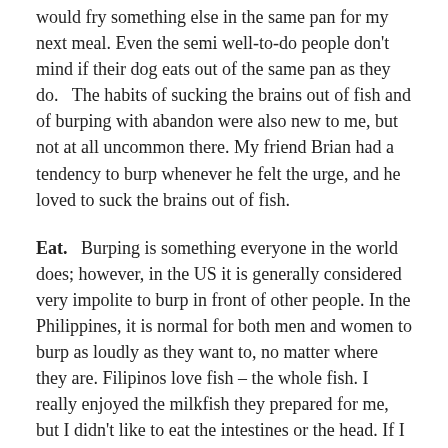would fry something else in the same pan for my next meal. Even the semi well-to-do people don't mind if their dog eats out of the same pan as they do.   The habits of sucking the brains out of fish and of burping with abandon were also new to me, but not at all uncommon there. My friend Brian had a tendency to burp whenever he felt the urge, and he loved to suck the brains out of fish.
Eat.   Burping is something everyone in the world does; however, in the US it is generally considered very impolite to burp in front of other people. In the Philippines, it is normal for both men and women to burp as loudly as they want to, no matter where they are. Filipinos love fish – the whole fish. I really enjoyed the milkfish they prepared for me, but I didn't like to eat the intestines or the head. If I was eating a piece of fish, and the intestines started to pop out, I would lose my appetite. I really did not like Filipinos' cuisine, but I never got...